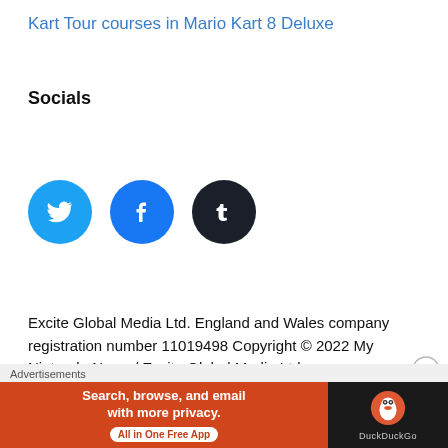Kart Tour courses in Mario Kart 8 Deluxe
Socials
[Figure (illustration): Three social media icon circles: Twitter (blue bird), Facebook (blue f), Tumblr (dark blue t)]
Excite Global Media Ltd. England and Wales company registration number 11019498 Copyright © 2022 My Nintendo News / Excite Global Media Ltd.
[Figure (illustration): Partial social media icons at bottom: Twitter, Facebook, Tumblr circles]
Advertisements
[Figure (screenshot): DuckDuckGo advertisement banner: orange left panel with 'Search, browse, and email with more privacy. All in One Free App', black right panel with DuckDuckGo logo]